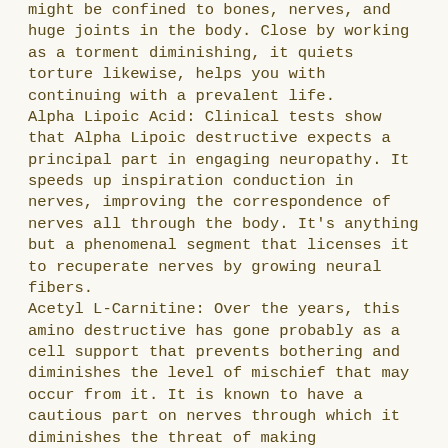might be confined to bones, nerves, and huge joints in the body. Close by working as a torment diminishing, it quiets torture likewise, helps you with continuing with a prevalent life. Alpha Lipoic Acid: Clinical tests show that Alpha Lipoic destructive expects a principal part in engaging neuropathy. It speeds up inspiration conduction in nerves, improving the correspondence of nerves all through the body. It's anything but a phenomenal segment that licenses it to recuperate nerves by growing neural fibers. Acetyl L-Carnitine: Over the years, this amino destructive has gone probably as a cell support that prevents bothering and diminishes the level of mischief that may occur from it. It is known to have a cautious part on nerves through which it diminishes the threat of making neuropathy. It expands the sensations of vibration and hit in the sensitive areas, making them more tricky. Excitement Flower Extract: By lessening